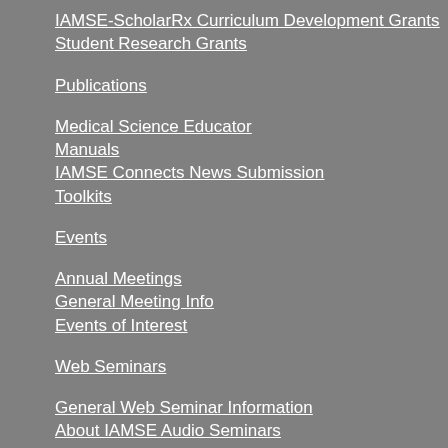IAMSE-ScholarRx Curriculum Development Grants
Student Research Grants
Publications
Medical Science Educator
Manuals
IAMSE Connects News Submission
Toolkits
Events
Annual Meetings
General Meeting Info
Events of Interest
Web Seminars
General Web Seminar Information
About IAMSE Audio Seminars
Getting the Most From an IAMSE Webcast Audio